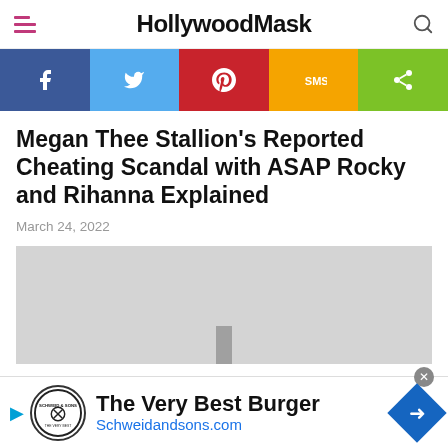HollywoodMask
[Figure (infographic): Social share bar with Facebook, Twitter, Pinterest, SMS, and Share buttons in colored blocks]
Megan Thee Stallion's Reported Cheating Scandal with ASAP Rocky and Rihanna Explained
March 24, 2022
[Figure (photo): Gray image placeholder with a dark gray vertical bar element at the bottom center]
[Figure (infographic): Advertisement banner: The Very Best Burger - Schweidandsons.com with Schweid & Sons logo and blue arrow icon]